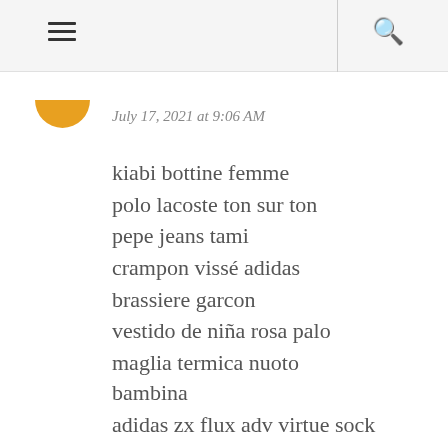≡  🔍
July 17, 2021 at 9:06 AM
kiabi bottine femme
polo lacoste ton sur ton
pepe jeans tami
crampon vissé adidas
brassiere garcon
vestido de niña rosa palo
maglia termica nuoto bambina
adidas zx flux adv virtue sock w
nike cortez prm
beutel zipper amazon
nike tanjun damen weiß 44
scarpe pirelli uomo impedire